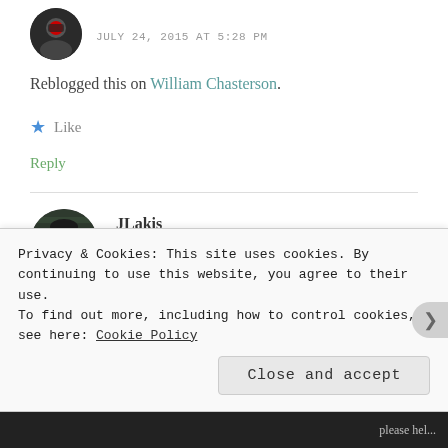JULY 24, 2015 AT 5:28 PM
Reblogged this on William Chasterson.
★ Like
Reply
JLakis
JULY 24, 2015 AT 5:44 PM
This made me so happy!
Privacy & Cookies: This site uses cookies. By continuing to use this website, you agree to their use. To find out more, including how to control cookies, see here: Cookie Policy
Close and accept